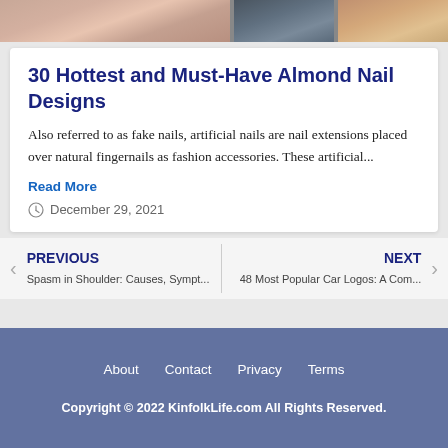[Figure (photo): Strip of nail photos showing various nail designs and colors at the top of the page]
30 Hottest and Must-Have Almond Nail Designs
Also referred to as fake nails, artificial nails are nail extensions placed over natural fingernails as fashion accessories. These artificial...
Read More
December 29, 2021
PREVIOUS
Spasm in Shoulder: Causes, Sympt...
NEXT
48 Most Popular Car Logos: A Com...
About  Contact  Privacy  Terms
Copyright © 2022 KinfolkLife.com All Rights Reserved.